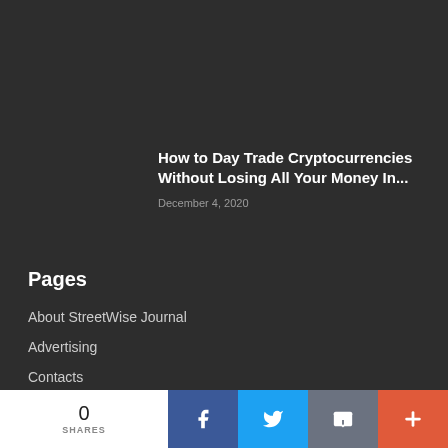How to Day Trade Cryptocurrencies Without Losing All Your Money In...
December 4, 2020
Pages
About StreetWise Journal
Advertising
Contacts
Feedback
0 SHARES | Facebook | Twitter | Email | +